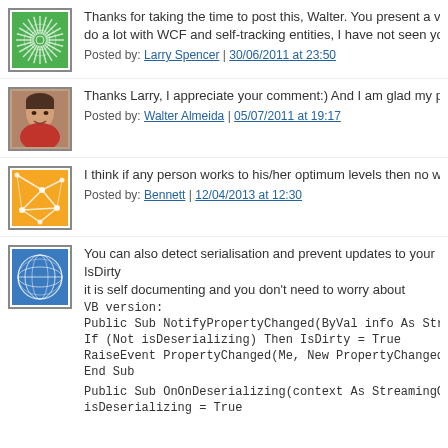[Figure (illustration): Green spiral/starburst avatar icon]
Thanks for taking the time to post this, Walter. You present a very int do a lot with WCF and self-tracking entities, I have not seen your ide
Posted by: Larry Spencer | 30/06/2011 at 23:50
[Figure (photo): Photo of a man (Walter Almeida) smiling]
Thanks Larry, I appreciate your comment:) And I am glad my post wa
Posted by: Walter Almeida | 05/07/2011 at 19:17
[Figure (illustration): Orange abstract network/web avatar icon]
I think if any person works to his/her optimum levels then no work is
Posted by: Bennett | 12/04/2013 at 12:30
[Figure (illustration): Blue globe/sphere avatar icon]
You can also detect serialisation and prevent updates to your IsDirty it is self documenting and you don't need to worry about someone in on the public property by accident.
VB version:
Public Sub NotifyPropertyChanged(ByVal info As String)
If (Not isDeserializing) Then IsDirty = True
RaiseEvent PropertyChanged(Me, New PropertyChangedEventArgs
End Sub
Public Sub OnOnDeserializing(context As StreamingContext)
isDeserializing = True